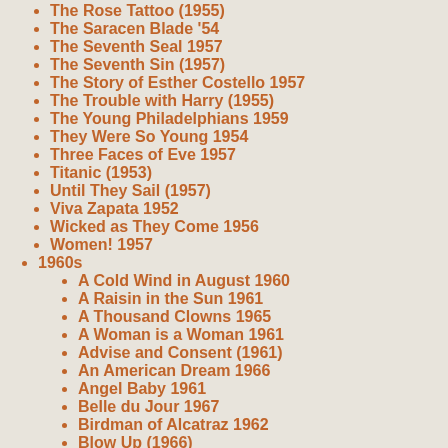The Rose Tattoo (1955)
The Saracen Blade '54
The Seventh Seal 1957
The Seventh Sin (1957)
The Story of Esther Costello 1957
The Trouble with Harry (1955)
The Young Philadelphians 1959
They Were So Young 1954
Three Faces of Eve 1957
Titanic (1953)
Until They Sail (1957)
Viva Zapata 1952
Wicked as They Come 1956
Women! 1957
1960s
A Cold Wind in August 1960
A Raisin in the Sun 1961
A Thousand Clowns 1965
A Woman is a Woman 1961
Advise and Consent (1961)
An American Dream 1966
Angel Baby 1961
Belle du Jour 1967
Birdman of Alcatraz 1962
Blow Up (1966)